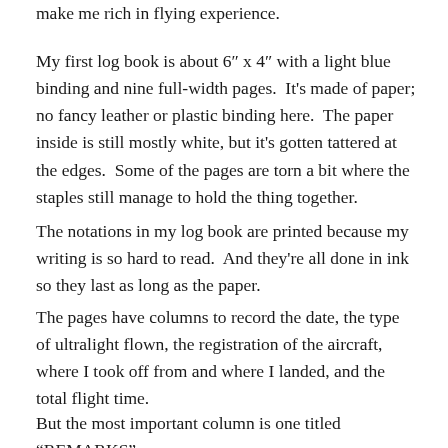make me rich in flying experience.
My first log book is about 6″ x 4″ with a light blue binding and nine full-width pages.  It's made of paper; no fancy leather or plastic binding here.  The paper inside is still mostly white, but it's gotten tattered at the edges.  Some of the pages are torn a bit where the staples still manage to hold the thing together.
The notations in my log book are printed because my writing is so hard to read.  And they're all done in ink so they last as long as the paper.
The pages have columns to record the date, the type of ultralight flown, the registration of the aircraft, where I took off from and where I landed, and the total flight time.
But the most important column is one titled “REMARKS”.